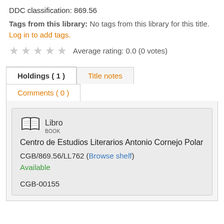DDC classification: 869.56
Tags from this library: No tags from this library for this title. Log in to add tags.
Average rating: 0.0 (0 votes)
Holdings ( 1 )
Title notes
Comments ( 0 )
Libro BOOK Centro de Estudios Literarios Antonio Cornejo Polar CGB/869.56/LL762 (Browse shelf) Available CGB-00155